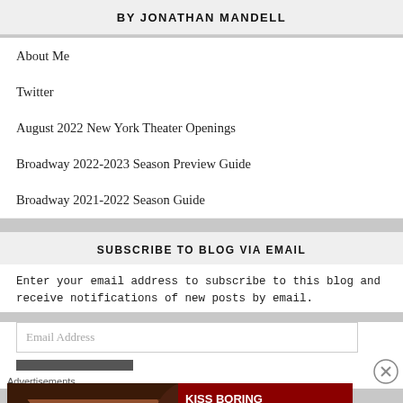BY JONATHAN MANDELL
About Me
Twitter
August 2022 New York Theater Openings
Broadway 2022-2023 Season Preview Guide
Broadway 2021-2022 Season Guide
SUBSCRIBE TO BLOG VIA EMAIL
Enter your email address to subscribe to this blog and receive notifications of new posts by email.
Email Address
Advertisements
[Figure (illustration): Macy's advertisement banner showing 'KISS BORING LIPS GOODBYE' with SHOP NOW button and Macy's star logo, with a woman's face showing red lips]